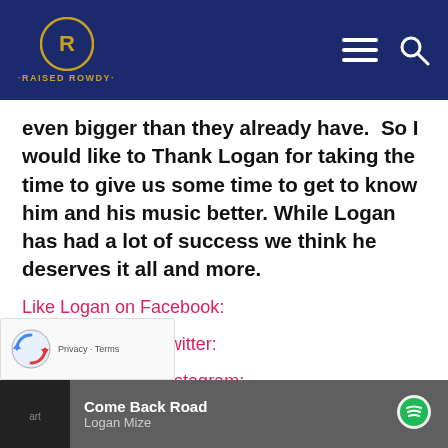RAISED ROWDY
even bigger than they already have.  So I would like to Thank Logan for taking the time to give us some time to get to know him and his music better. While Logan has had a lot of success we think he deserves it all and more.
Like Logan on Facebook:
Follow Logan on Twitter:
Follow Logan on Instagram:
Website + Tour Dates:
[Figure (other): Spotify player bar showing 'Come Back Road' by Logan Mize with Spotify logo icon]
[Figure (other): reCAPTCHA widget with Privacy and Terms links]